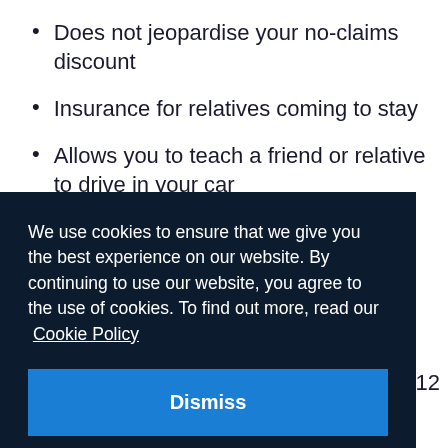Does not jeopardise your no-claims discount
Insurance for relatives coming to stay
Allows you to teach a friend or relative to drive in your car
We use cookies to ensure that we give you the best experience on our website. By continuing to use our website, you agree to the use of cookies. To find out more, read our Cookie Policy
Dismiss
f 12
Any person who has been resident in the UK